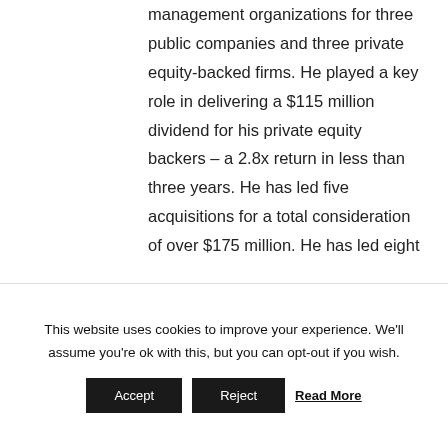management organizations for three public companies and three private equity-backed firms. He played a key role in delivering a $115 million dividend for his private equity backers – a 2.8x return in less than three years. He has led five acquisitions for a total consideration of over $175 million. He has led eight
This website uses cookies to improve your experience. We'll assume you're ok with this, but you can opt-out if you wish.